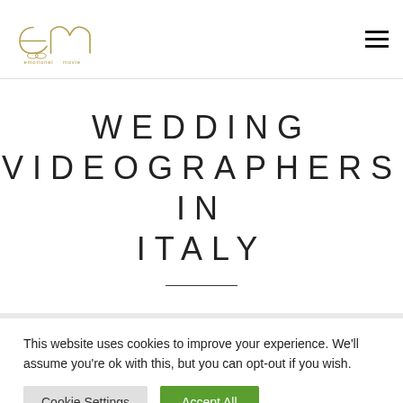[Figure (logo): Emotional Movie logo — stylized 'em' in gold/olive with 'emotional movie' text below]
WEDDING VIDEOGRAPHERS IN ITALY
This website uses cookies to improve your experience. We'll assume you're ok with this, but you can opt-out if you wish.
Cookie Settings | Accept All